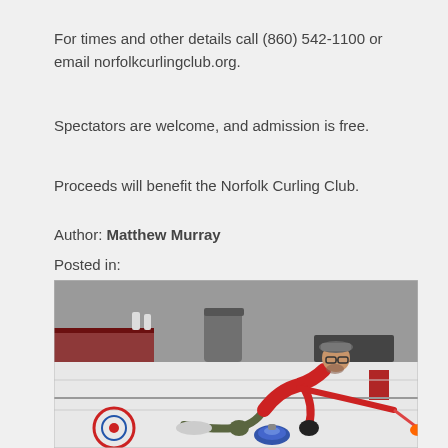For times and other details call (860) 542-1100 or email norfolkcurlingclub.org.
Spectators are welcome, and admission is free.
Proceeds will benefit the Norfolk Curling Club.
Author: Matthew Murray
Posted in:
[Figure (photo): A man wearing a red t-shirt, olive pants, and a flat cap is in a curling delivery pose on an indoor ice rink, sliding forward while releasing a blue curling stone. He wears glasses and a glove on his right hand. An orange handle/broom tip is visible to the right. The background shows a bench area with equipment and a concrete wall.]